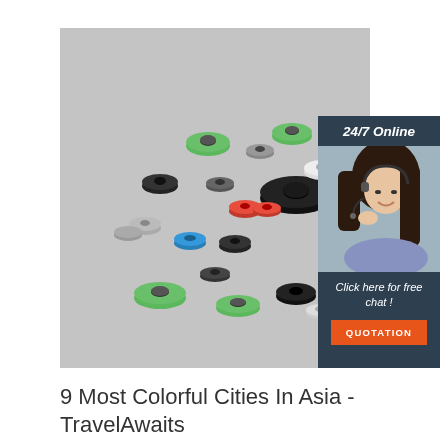[Figure (photo): Photograph of multiple small colorful bearings/wheels (green, black, gray, white, orange, blue) scattered on a light gray background. An overlaid advertisement panel shows a woman with a headset, text '24/7 Online', 'Click here for free chat!', and a button 'QUOTATION'.]
9 Most Colorful Cities In Asia - TravelAwaits